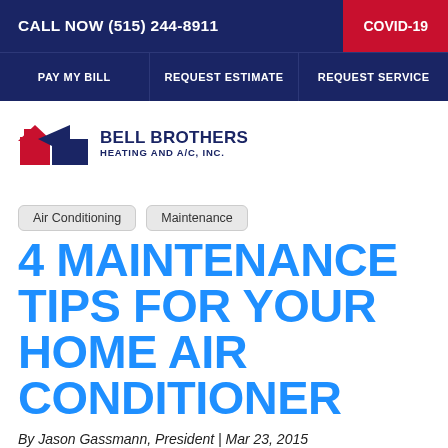CALL NOW (515) 244-8911
COVID-19
PAY MY BILL | REQUEST ESTIMATE | REQUEST SERVICE
[Figure (logo): Bell Brothers Heating and A/C, Inc. logo with red house and blue roof shapes]
Air Conditioning
Maintenance
4 MAINTENANCE TIPS FOR YOUR HOME AIR CONDITIONER
By Jason Gassmann, President | Mar 23, 2015